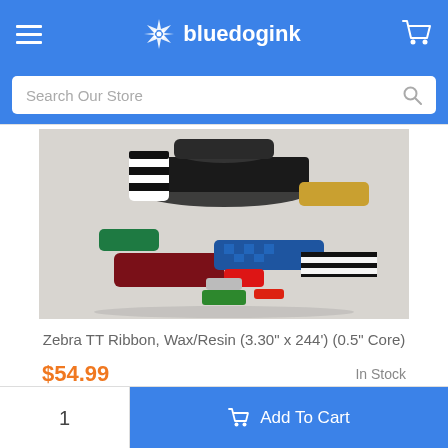bluedogink
Search Our Store
[Figure (photo): Collection of Zebra thermal transfer ribbon rolls in various colors including black, red, green, blue, and patterned designs, stacked together on a white background.]
Zebra TT Ribbon, Wax/Resin (3.30" x 244') (0.5" Core)
$54.99   In Stock
Add To Cart
1   Add To Cart